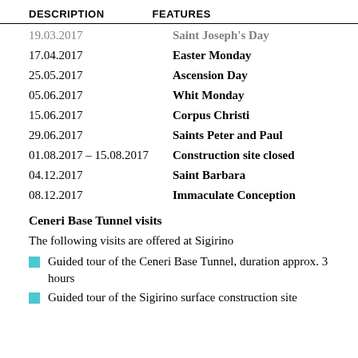DESCRIPTION   FEATURES
| Date | Description |
| --- | --- |
| 19.03.2017 | Saint Joseph's Day |
| 17.04.2017 | Easter Monday |
| 25.05.2017 | Ascension Day |
| 05.06.2017 | Whit Monday |
| 15.06.2017 | Corpus Christi |
| 29.06.2017 | Saints Peter and Paul |
| 01.08.2017 – 15.08.2017 | Construction site closed |
| 04.12.2017 | Saint Barbara |
| 08.12.2017 | Immaculate Conception |
Ceneri Base Tunnel visits
The following visits are offered at Sigirino
Guided tour of the Ceneri Base Tunnel, duration approx. 3 hours
Guided tour of the Sigirino surface construction site